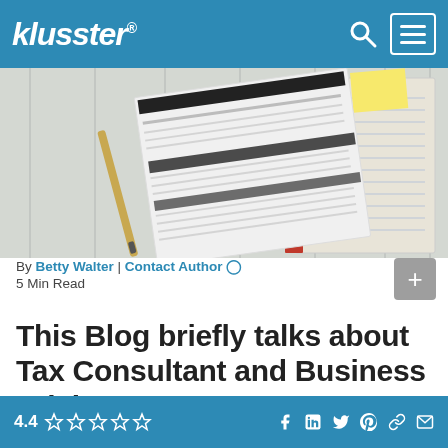klusster®
[Figure (photo): Photo of tax documents, forms, a pen, and a notebook on a white wooden surface]
By Betty Walter | Contact Author 5 Min Read
This Blog briefly talks about Tax Consultant and Business Advisory
4.4 ☆☆☆☆☆ [social icons: Facebook, LinkedIn, Twitter, Pinterest, Link, Mail]